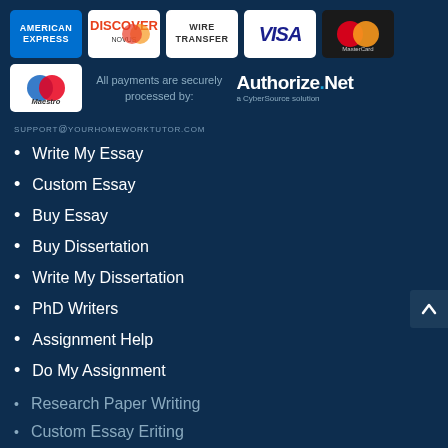[Figure (infographic): Payment method logos: American Express, Discover, Wire Transfer, Visa, MasterCard, Maestro, plus Authorize.Net badge and text 'All payments are securely processed by:']
SUPPORT@YOURHOMEWORKTUTOR.COM
Write My Essay
Custom Essay
Buy Essay
Buy Dissertation
Write My Dissertation
PhD Writers
Assignment Help
Do My Assignment
Research Paper Writing
Custom Essay Eriting